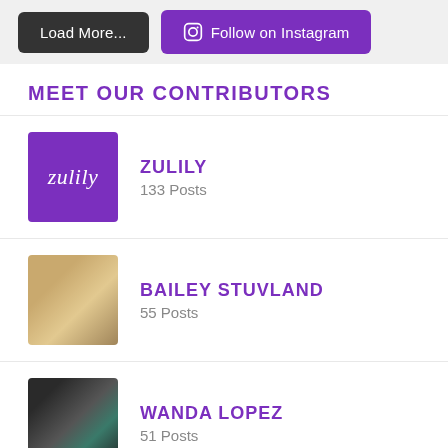[Figure (screenshot): Two buttons: 'Load More...' (dark gray) and 'Follow on Instagram' (purple with Instagram icon)]
MEET OUR CONTRIBUTORS
ZULILY — 133 Posts
BAILEY STUVLAND — 55 Posts
WANDA LOPEZ — 51 Posts
ANNA KELLER — 40 Posts